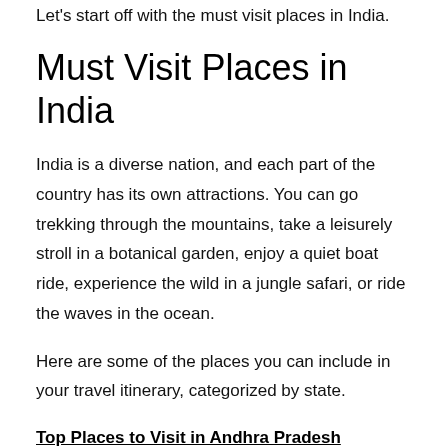Let's start off with the must visit places in India.
Must Visit Places in India
India is a diverse nation, and each part of the country has its own attractions. You can go trekking through the mountains, take a leisurely stroll in a botanical garden, enjoy a quiet boat ride, experience the wild in a jungle safari, or ride the waves in the ocean.
Here are some of the places you can include in your travel itinerary, categorized by state.
Top Places to Visit in Andhra Pradesh